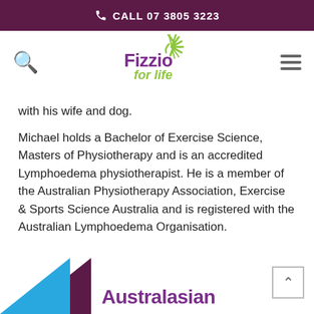CALL 07 3805 3223
[Figure (logo): Fizzio for Life logo with green sunburst and purple/green text]
with his wife and dog.
Michael holds a Bachelor of Exercise Science, Masters of Physiotherapy and is an accredited Lymphoedema physiotherapist. He is a member of the Australian Physiotherapy Association, Exercise & Sports Science Australia and is registered with the Australian Lymphoedema Organisation.
[Figure (logo): Bottom partial logos: blue/purple triangle shape on left, and 'Australasian' text in purple on right (partial, cropped)]